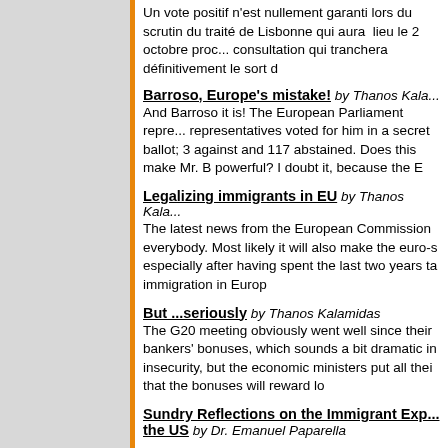Un vote positif n'est nullement garanti lors du scrutin du traité de Lisbonne qui aura lieu le 2 octobre prochain, une consultation qui tranchera définitivement le sort d
Barroso, Europe's mistake! by Thanos Kala...
And Barroso it is! The European Parliament representatives voted for him in a secret ballot; 3 against and 117 abstained. Does this make Mr. B powerful? I doubt it, because the E
Legalizing immigrants in EU by Thanos Kala...
The latest news from the European Commission everybody. Most likely it will also make the euro-s especially after having spent the last two years ta immigration in Europ
But ...seriously by Thanos Kalamidas
The G20 meeting obviously went well since their bankers' bonuses, which sounds a bit dramatic in insecurity, but the economic ministers put all thei that the bonuses will reward lo
Sundry Reflections on the Immigrant Exp... the US by Dr. Emanuel Paparella
Impressions of Italy and the EU: Now and... Paparella
Conservative European policy: calculatin... disaster by Newropeans-Magazine
The British Conservatives have committed thems the Lisbon Treaty should they come to power bef